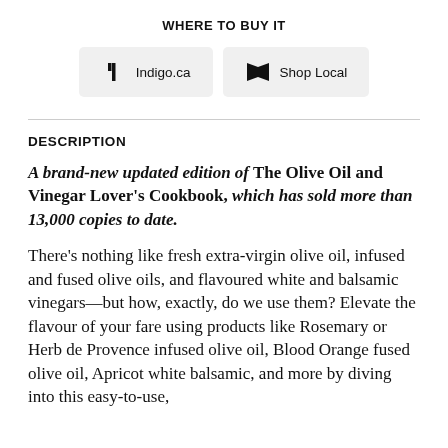WHERE TO BUY IT
[Figure (other): Two retailer buttons: Indigo.ca and Shop Local]
DESCRIPTION
A brand-new updated edition of The Olive Oil and Vinegar Lover's Cookbook, which has sold more than 13,000 copies to date.
There's nothing like fresh extra-virgin olive oil, infused and fused olive oils, and flavoured white and balsamic vinegars—but how, exactly, do we use them? Elevate the flavour of your fare using products like Rosemary or Herb de Provence infused olive oil, Blood Orange fused olive oil, Apricot white balsamic, and more by diving into this easy-to-use,